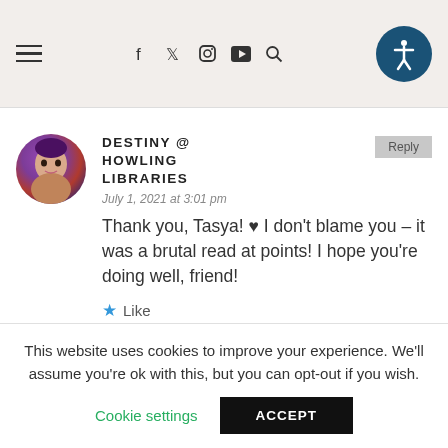≡  f  t  Instagram  YouTube  Search  [Accessibility icon]
[Figure (photo): Circular avatar photo of a woman with purple-tinted hair and dark makeup against a purple/blue background]
DESTINY @ HOWLING LIBRARIES
July 1, 2021 at 3:01 pm
Thank you, Tasya! ♥ I don't blame you – it was a brutal read at points! I hope you're doing well, friend!
★ Like
This website uses cookies to improve your experience. We'll assume you're ok with this, but you can opt-out if you wish.
Cookie settings   ACCEPT